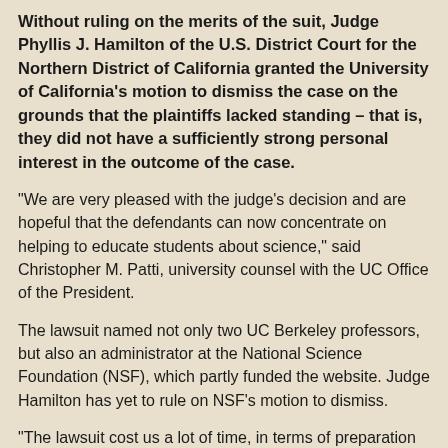Without ruling on the merits of the suit, Judge Phyllis J. Hamilton of the U.S. District Court for the Northern District of California granted the University of California's motion to dismiss the case on the grounds that the plaintiffs lacked standing – that is, they did not have a sufficiently strong personal interest in the outcome of the case.
"We are very pleased with the judge's decision and are hopeful that the defendants can now concentrate on helping to educate students about science," said Christopher M. Patti, university counsel with the UC Office of the President.
The lawsuit named not only two UC Berkeley professors, but also an administrator at the National Science Foundation (NSF), which partly funded the website. Judge Hamilton has yet to rule on NSF's motion to dismiss.
"The lawsuit cost us a lot of time, in terms of preparation and reviewing and Xeroxing a lot of paper, plus the legal fees," said Roy Caldwell, one of the UC Berkeley professors named in the suit. "I'm glad the court saw that the case